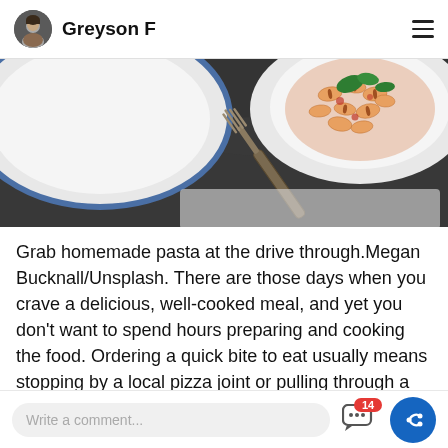Greyson F
[Figure (photo): Food photo showing a fork on a dark marble surface with a white plate of farfalle pasta garnished with basil and tomato sauce in the upper right corner]
Grab homemade pasta at the drive through.Megan Bucknall/Unsplash. There are those days when you crave a delicious, well-cooked meal, and yet you don't want to spend hours preparing and cooking the food. Ordering a quick bite to eat usually means stopping by a local pizza joint or pulling through a fast-food window. However, there is now another option in metro Phoenix.